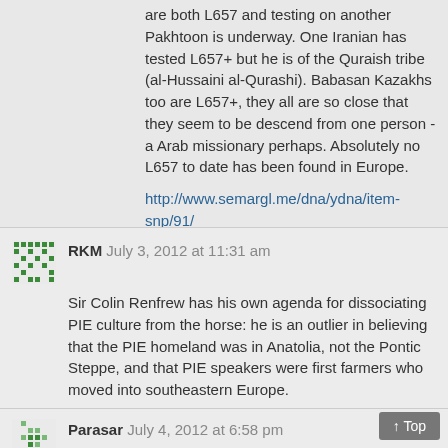are both L657 and testing on another Pakhtoon is underway. One Iranian has tested L657+ but he is of the Quraish tribe (al-Hussaini al-Qurashi). Babasan Kazakhs too are L657+, they all are so close that they seem to be descend from one person - a Arab missionary perhaps. Absolutely no L657 to date has been found in Europe.
http://www.semargl.me/dna/ydna/item-snp/91/
RKM July 3, 2012 at 11:31 am
Sir Colin Renfrew has his own agenda for dissociating PIE culture from the horse: he is an outlier in believing that the PIE homeland was in Anatolia, not the Pontic Steppe, and that PIE speakers were first farmers who moved into southeastern Europe.
Whatever relevance horses have to IE studies, they clearly are of huge relevance to Vedic studies given the emphasis on horses in the RV and that is the question at hand.
Parasar July 4, 2012 at 6:58 pm
Nirjhar,